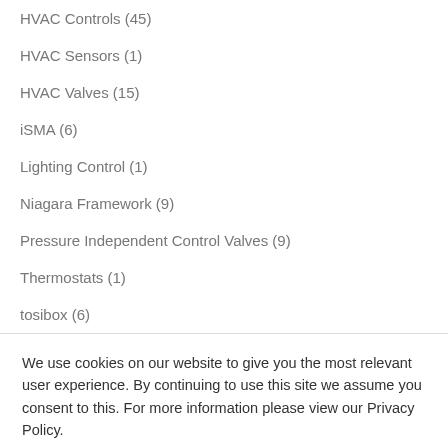HVAC Controls (45)
HVAC Sensors (1)
HVAC Valves (15)
iSMA (6)
Lighting Control (1)
Niagara Framework (9)
Pressure Independent Control Valves (9)
Thermostats (1)
tosibox (6)
We use cookies on our website to give you the most relevant user experience. By continuing to use this site we assume you consent to this. For more information please view our Privacy Policy.
Accept | Privacy Policy